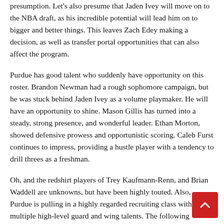presumption. Let's also presume that Jaden Ivey will move on to the NBA draft, as his incredible potential will lead him on to bigger and better things. This leaves Zach Edey making a decision, as well as transfer portal opportunities that can also affect the program.
Purdue has good talent who suddenly have opportunity on this roster. Brandon Newman had a rough sophomore campaign, but he was stuck behind Jaden Ivey as a volume playmaker. He will have an opportunity to shine. Mason Gillis has turned into a steady, strong presence, and wonderful leader. Ethan Morton, showed defensive prowess and opportunistic scoring. Caleb Furst continues to impress, providing a hustle player with a tendency to drill threes as a freshman.
Oh, and the redshirt players of Trey Kaufmann-Renn, and Brian Waddell are unknowns, but have been highly touted. Also, Purdue is pulling in a highly regarded recruiting class with multiple high-level guard and wing talents. The following recruiting class has dynamic guards, and an over 7' player who has outside range and a sturdy frame.